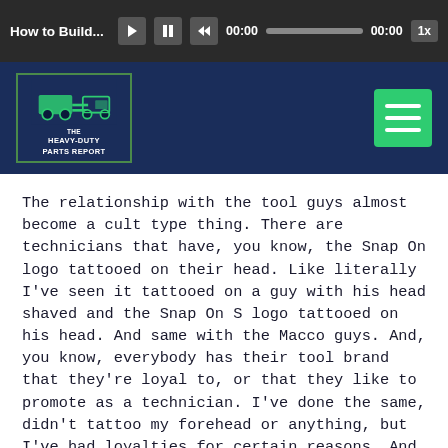How to Build... [audio player controls] 00:00 00:00 1x
[Figure (logo): The Heavy-Duty Parts Report podcast logo in a dark blue banner with a green menu button]
The relationship with the tool guys almost become a cult type thing. There are technicians that have, you know, the Snap On logo tattooed on their head. Like literally I've seen it tattooed on a guy with his head shaved and the Snap On S logo tattooed on his head. And same with the Macco guys. And, you know, everybody has their tool brand that they're loyal to, or that they like to promote as a technician. I've done the same, didn't tattoo my forehead or anything, but I've had loyalties for certain reasons. And I think the biggest mistake that, and this is gonna sound horrible as a business owner, but I think one of the biggest mistakes that technicians make is they make loyalties to companies instead of being loyal to themselves. Now I'm all about brand loyalty. And